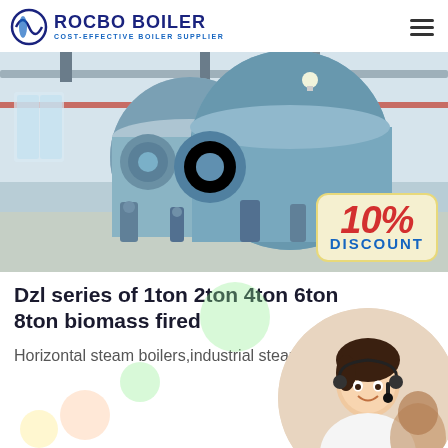ROCBO BOILER - COST-EFFECTIVE BOILER SUPPLIER
[Figure (photo): Industrial boiler room with large blue horizontal steam boilers and piping, with a 10% DISCOUNT badge overlay in the bottom right corner.]
Dzl series of 1ton 2ton 4ton 6ton 8ton biomass fired
Horizontal steam boilers,industrial steam boilers